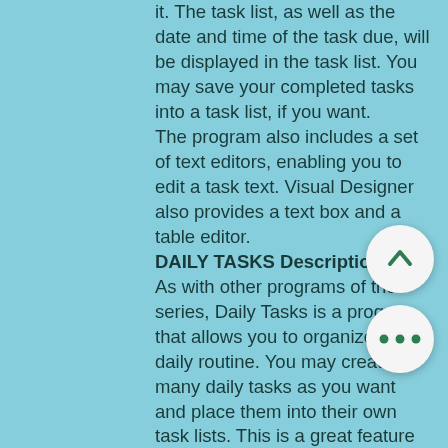it. The task list, as well as the date and time of the task due, will be displayed in the task list. You may save your completed tasks into a task list, if you want. The program also includes a set of text editors, enabling you to edit a task text. Visual Designer also provides a text box and a table editor.
DAILY TASKS Description:
As with other programs of the series, Daily Tasks is a program that allows you to organize your daily routine. You may create as many daily tasks as you want and place them into their own task lists. This is a great feature for those people who don't like to waste time searching for the right task. Daily Tasks also allows you to keep track of your working hours and to set your clock by the digital clock that appears on your screen. The system interface allows you to sync your clock to a computer's clock, as well as to set the number of days per week.